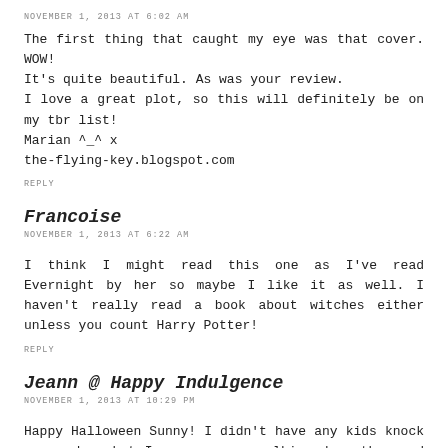NOVEMBER 1, 2013 AT 6:02 AM
The first thing that caught my eye was that cover. WOW! It's quite beautiful. As was your review.
I love a great plot, so this will definitely be on my tbr list!
Marian ^_^ x
the-flying-key.blogspot.com
REPLY
Francoise
NOVEMBER 1, 2013 AT 6:22 AM
I think I might read this one as I've read Evernight by her so maybe I like it as well. I haven't really read a book about witches either unless you count Harry Potter!
REPLY
Jeann @ Happy Indulgence
NOVEMBER 1, 2013 AT 10:29 PM
Happy Halloween Sunny! I didn't have any kids knock on my door but I saw a group walking down the road lol. The cover for